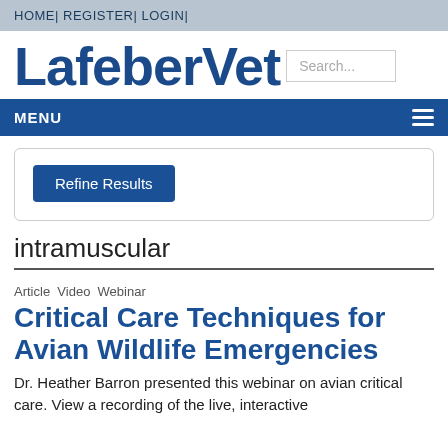HOME| REGISTER| LOGIN|
LafeberVet
MENU
Refine Results
intramuscular
Article  Video  Webinar
Critical Care Techniques for Avian Wildlife Emergencies
Dr. Heather Barron presented this webinar on avian critical care. View a recording of the live, interactive